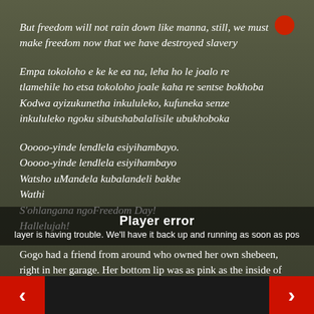But freedom will not rain down like manna, still, we must make freedom now that we have destroyed slavery
Empa tokoloho e ke ke ea na, leha ho le joalo re tlamehile ho etsa tokoloho joale kaha re sentse bokhoba
Kodwa ayizukunetha inkululeko, kufuneka senze inkululeko ngoku sibutshabalalisile ubukhoboka
Ooooo-yinde lendlela esiyihambayo.
Ooooo-yinde lendlela esiyihambayo
Watsho uMandela kubalandeli bakhe
Wathi
S'ohlangana ngoFreedom Day!
Hallelujah!
Gogo had a friend from around who owned her own shebeen, right in her garage. Her bottom lip was as pink as the inside of your cheek and she walked led over her left leg, her waist wrapped in a burless old towel, the same colour less of the sto
[Figure (other): Player error overlay with message: Player error. Player is having trouble. We'll have it back up and running as soon as possible.]
[Figure (other): Navigation arrows: left red arrow button and right red arrow button at bottom corners]